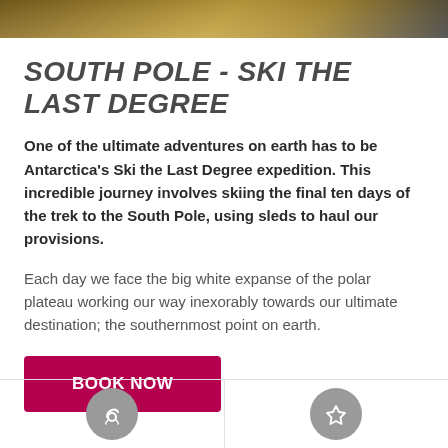[Figure (photo): Dark top image strip showing partial view of a person in outdoor expedition gear, with warm golden/yellow tones]
SOUTH POLE - SKI THE LAST DEGREE
One of the ultimate adventures on earth has to be Antarctica's Ski the Last Degree expedition. This incredible journey involves skiing the final ten days of the trek to the South Pole, using sleds to haul our provisions.
Each day we face the big white expanse of the polar plateau working our way inexorably towards our ultimate destination; the southernmost point on earth.
[Figure (other): BOOK NOW button - crimson/dark pink rectangular button with white bold uppercase text]
[Figure (other): Bottom section with two circular grey icons separated by a vertical line]